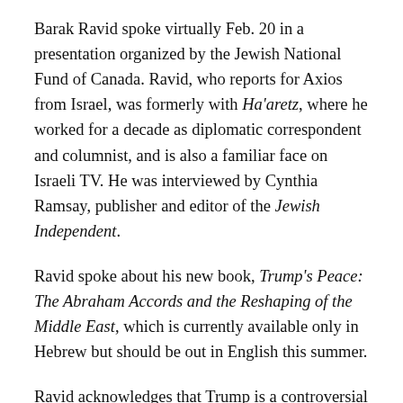Barak Ravid spoke virtually Feb. 20 in a presentation organized by the Jewish National Fund of Canada. Ravid, who reports for Axios from Israel, was formerly with Ha'aretz, where he worked for a decade as diplomatic correspondent and columnist, and is also a familiar face on Israeli TV. He was interviewed by Cynthia Ramsay, publisher and editor of the Jewish Independent.
Ravid spoke about his new book, Trump's Peace: The Abraham Accords and the Reshaping of the Middle East, which is currently available only in Hebrew but should be out in English this summer.
Ravid acknowledges that Trump is a controversial figure and that the book's title has received some pushback. "Peace is not the first thing that comes to mind when you say the word Trump," he said. "I chose that name because it happens to be true."